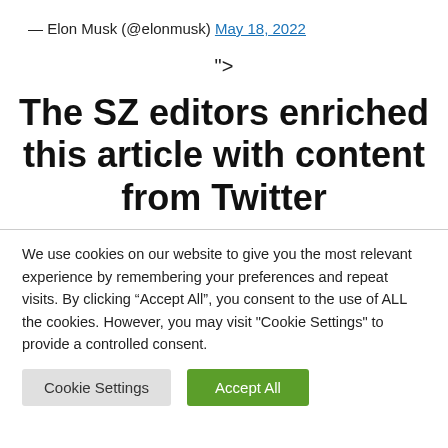— Elon Musk (@elonmusk) May 18, 2022
">
The SZ editors enriched this article with content from Twitter
We use cookies on our website to give you the most relevant experience by remembering your preferences and repeat visits. By clicking “Accept All”, you consent to the use of ALL the cookies. However, you may visit "Cookie Settings" to provide a controlled consent.
Cookie Settings | Accept All